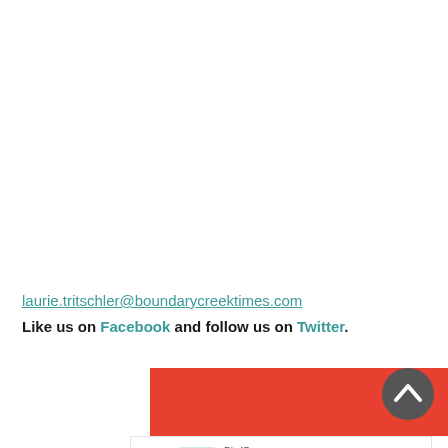laurie.tritschler@boundarycreektimes.com
Like us on Facebook and follow us on Twitter.
[Figure (other): Red advertisement banner with white curved shape/swoosh on right side and dashed border]
[Figure (other): Scroll-to-top circular button with upward chevron arrow, dark gray]
[Figure (other): Pix4D advertisement: Drone maps for crop insurance with Download button, QuadFields logo]